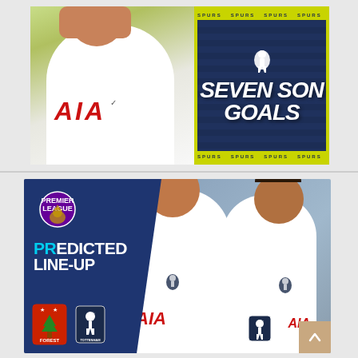[Figure (photo): Top composite image: Left side shows a Tottenham Hotspur player in white AIA kit making a gesture with his hands. Right side shows a dark navy card with yellow/green border, Spurs cockerel crest, and bold text 'SEVEN SON GOALS' in white italic font. The card has a stadium background and yellow ticker strips at top and bottom.]
[Figure (infographic): Bottom composite image: Predicted Line-Up graphic with Premier League lion logo top left, 'PREDICTED LINE-UP' text in white with 'PR' highlighted in cyan on a dark navy split-panel left side. Bottom left shows Nottingham Forest and Tottenham Hotspur club badges. Right side shows two Tottenham players in white AIA kits with Spurs crests, smiling, in front of a stadium backdrop.]